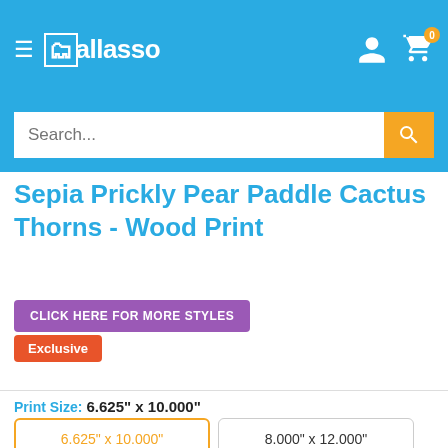Wallasso — The Wall Art Superstore
Sepia Prickly Pear Paddle Cactus Thorns - Wood Print
CLICK HERE FOR MORE STYLES
Exclusive
Print Size: 6.625" x 10.000"
| 6.625" x 10.000" | 8.000" x 12.000" |
| 9.375" x 14.000" | 10.625" x 16.000" |